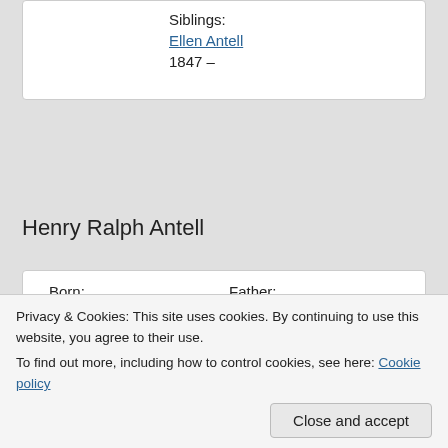Siblings: Ellen Antell 1847 –
Henry Ralph Antell
Born: About 1851; Salisbury, Wiltshire | Father: Robert Antell 1812 – | Mother: Sarah Ann | Census: | Elizabeth
Privacy & Cookies: This site uses cookies. By continuing to use this website, you agree to their use. To find out more, including how to control cookies, see here: Cookie policy
Close and accept